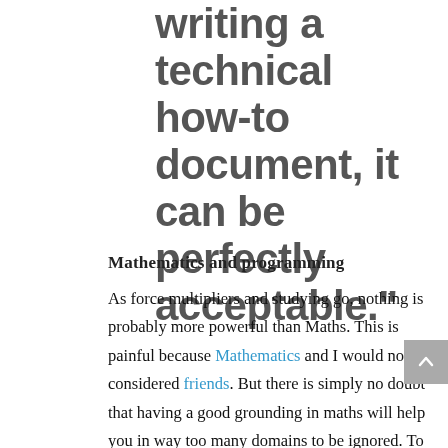writing a technical how-to document, it can be perfectly acceptable."
Mathematics and programming
As force multipliers and studying go, nothing is probably more powerful than Maths. This is painful because Mathematics and I would not be considered friends. But there is simply no doubt that having a good grounding in maths will help you in way too many domains to be ignored. To this end, much like with touch-typing, I am working on this using online resources mainly the incredible https://www.khanacademy.org/

Not much to explain here, it's just something that I need to find a better approach to and master. Whatever field of programming or software I want to